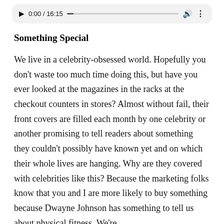[Figure (screenshot): Audio/video media player control bar showing play button, timestamp 0:00 / 16:15, progress bar, volume icon, and more options icon on a light gray background.]
Something Special
We live in a celebrity-obsessed world. Hopefully you don't waste too much time doing this, but have you ever looked at the magazines in the racks at the checkout counters in stores? Almost without fail, their front covers are filled each month by one celebrity or another promising to tell readers about something they couldn't possibly have known yet and on which their whole lives are hanging. Why are they covered with celebrities like this? Because the marketing folks know that you and I are more likely to buy something because Dwayne Johnson has something to tell us about physical fitness. We're